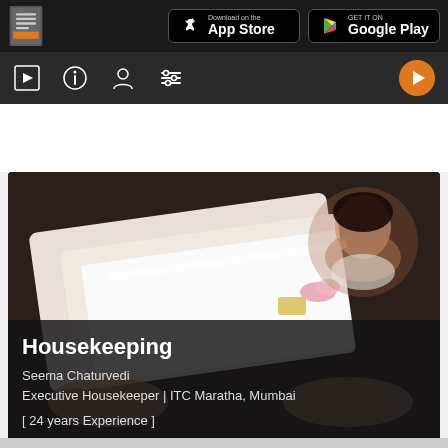[Figure (screenshot): App store download badges: Apple App Store and Google Play Store buttons on dark navigation bar]
[Figure (screenshot): Navigation icon bar with media player icons (slideshow, info, person, settings) and orange play button on the right]
[Figure (photo): Course thumbnail showing a person holding folded white linens/towels with a flower and small pastry on top, and a circular portrait photo of a woman (Seema Chaturvedi) in the upper right corner]
Housekeeping
Seema Chaturvedi
Executive Housekeeper | ITC Maratha, Mumbai
[ 24 years Experience ]